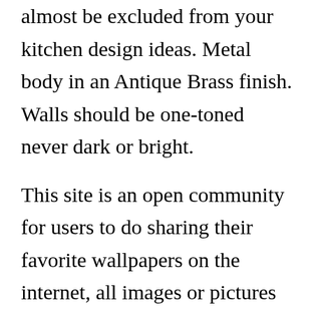almost be excluded from your kitchen design ideas. Metal body in an Antique Brass finish. Walls should be one-toned never dark or bright.
This site is an open community for users to do sharing their favorite wallpapers on the internet, all images or pictures in this website are for personal wallpaper use only, it is stricly prohibited to use this wallpaper for commercial purposes, if you are the author and find this image is shared without your permission, [CLOSE X] ndly raise a